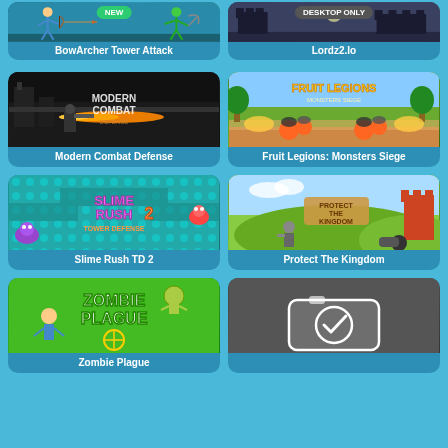[Figure (screenshot): BowArcher Tower Attack game thumbnail with stick figures and bow archer characters, NEW badge]
BowArcher Tower Attack
[Figure (screenshot): Lordz2.io game thumbnail with dark background, DESKTOP ONLY badge]
Lordz2.Io
[Figure (screenshot): Modern Combat Defense game thumbnail with dark combat scene and orange flame]
Modern Combat Defense
[Figure (screenshot): Fruit Legions: Monsters Siege game thumbnail with colorful fruit characters]
Fruit Legions: Monsters Siege
[Figure (screenshot): Slime Rush TD 2 tower defense game thumbnail with colorful slime characters]
Slime Rush TD 2
[Figure (screenshot): Protect The Kingdom game thumbnail with knights and castle]
Protect The Kingdom
[Figure (screenshot): Zombie Plague game thumbnail with zombie characters on green background]
[Figure (screenshot): Camera/photo game thumbnail with gray background and camera icon]